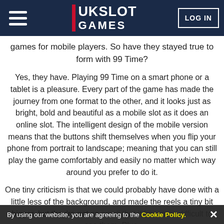UK SLOT GAMES — LOG IN
games for mobile players. So have they stayed true to form with 99 Time?
Yes, they have. Playing 99 Time on a smart phone or a tablet is a pleasure. Every part of the game has made the journey from one format to the other, and it looks just as bright, bold and beautiful as a mobile slot as it does an online slot. The intelligent design of the mobile version means that the buttons shift themselves when you flip your phone from portrait to landscape; meaning that you can still play the game comfortably and easily no matter which way around you prefer to do it.
One tiny criticism is that we could probably have done with a little less of the background, and made the reels a tiny bit bigger, but they're not so small that it becomes difficult to see them. Plus, the game has a pretty bright background, so it's not like the space is filled with something that takes away
By using our website, you are agreeing to the Cookie Policy. ✕